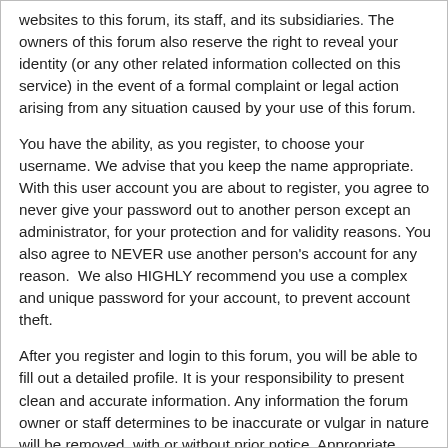websites to this forum, its staff, and its subsidiaries. The owners of this forum also reserve the right to reveal your identity (or any other related information collected on this service) in the event of a formal complaint or legal action arising from any situation caused by your use of this forum.
You have the ability, as you register, to choose your username. We advise that you keep the name appropriate. With this user account you are about to register, you agree to never give your password out to another person except an administrator, for your protection and for validity reasons. You also agree to NEVER use another person's account for any reason.  We also HIGHLY recommend you use a complex and unique password for your account, to prevent account theft.
After you register and login to this forum, you will be able to fill out a detailed profile. It is your responsibility to present clean and accurate information. Any information the forum owner or staff determines to be inaccurate or vulgar in nature will be removed, with or without prior notice. Appropriate sanctions may be applicable.
Please note that with each post, your IP address is recorded, in the event that you need to be banned from